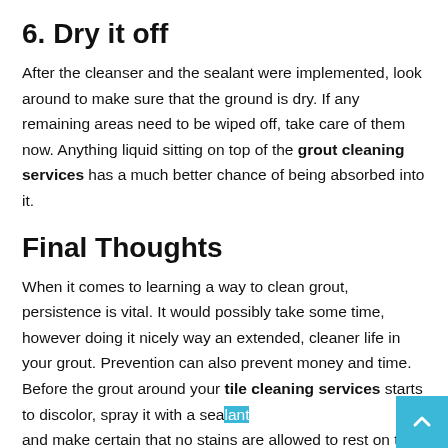6. Dry it off
After the cleanser and the sealant were implemented, look around to make sure that the ground is dry. If any remaining areas need to be wiped off, take care of them now. Anything liquid sitting on top of the grout cleaning services has a much better chance of being absorbed into it.
Final Thoughts
When it comes to learning a way to clean grout, persistence is vital. It would possibly take some time, however doing it nicely way an extended, cleaner life in your grout. Prevention can also prevent money and time. Before the grout around your tile cleaning services starts to discolor, spray it with a sealant and make certain that no stains are allowed to rest on the grout before long. Because of habit, overtime you will need to